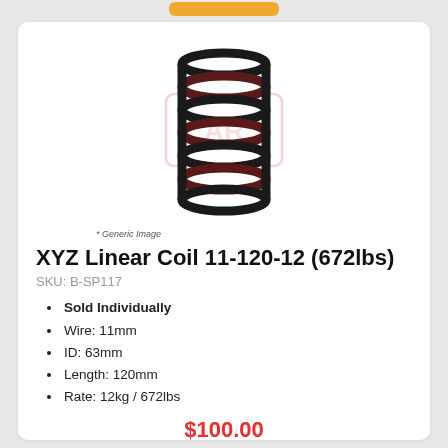[Figure (photo): A coil spring product image (dark/maroon colored helical spring) with a watermark logo overlay, labeled as a generic image.]
* Generic Image
XYZ Linear Coil 11-120-12 (672lbs)
SKU: B-SP117
Sold Individually
Wire: 11mm
ID: 63mm
Length: 120mm
Rate: 12kg / 672lbs
$100.00
Add to Cart